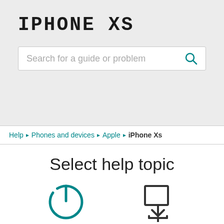IPHONE XS
Search for a guide or problem
Help > Phones and devices > Apple > iPhone Xs
Select help topic
[Figure (illustration): Power/on-off icon (teal circle with power symbol) and a transfer/download icon (dark grey box with arrows)]